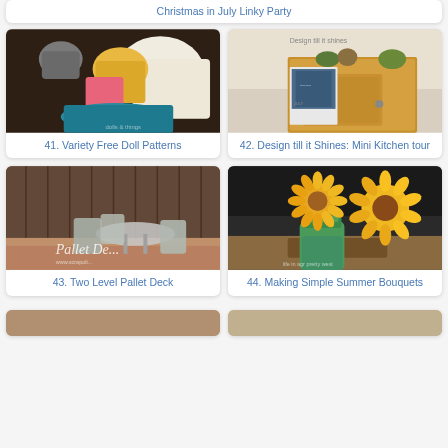Christmas in July Linky Party
[Figure (photo): Colorful doll clothes laid out on a dark surface - hats, tops, and pants in pink, yellow, teal, and cream colors]
41. Variety Free Doll Patterns
[Figure (photo): Wooden cabinet with waterfall art print leaning against it, decorative items on top, text 'Design till it shines' visible]
42. Design till it Shines: Mini Kitchen tour
[Figure (photo): Patio deck with white chairs and glass table, wooden fence background, text 'Pallet De...' overlay]
43. Two Level Pallet Deck
[Figure (photo): Bright yellow sunflowers in a green mason jar on a rustic table, text 'life in agr pretty west' overlay]
44. Making Simple Summer Bouquets